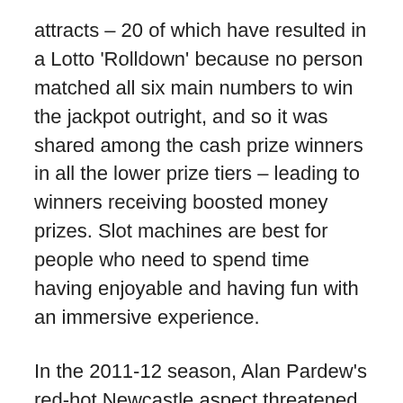attracts – 20 of which have resulted in a Lotto 'Rolldown' because no person matched all six main numbers to win the jackpot outright, and so it was shared among the cash prize winners in all the lower prize tiers – leading to winners receiving boosted money prizes. Slot machines are best for people who need to spend time having enjoyable and having fun with an immersive experience.
In the 2011-12 season, Alan Pardew's red-hot Newcastle aspect threatened to qualify for the Champions League, having constructed a squad with aptitude and attacking promise. Plenty of reward for Leicester's remarkable Premier League title win in 2015-sixteen is given to manager Claudio Ranieri and his taking part in workers, though the Foxes' former chief scout Steve Walsh gets the nod too.